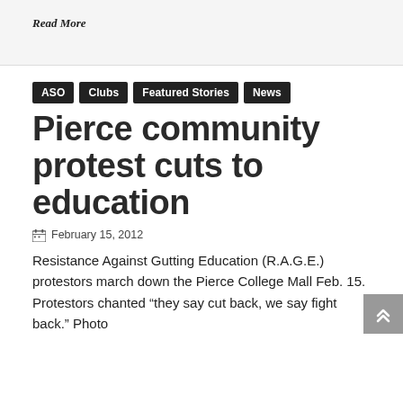Read More
ASO
Clubs
Featured Stories
News
Pierce community protest cuts to education
February 15, 2012
Resistance Against Gutting Education (R.A.G.E.) protestors march down the Pierce College Mall Feb. 15. Protestors chanted “they say cut back, we say fight back.” Photo